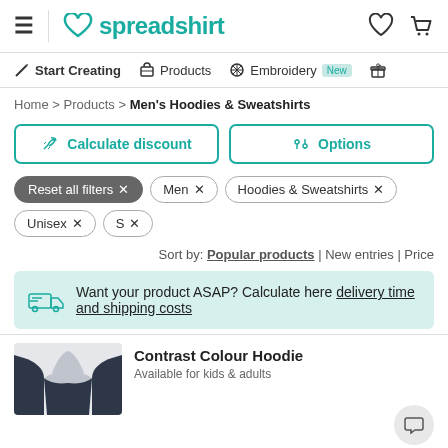spreadshirt
Start Creating | Products | Embroidery New
Home > Products > Men's Hoodies & Sweatshirts
Calculate discount
Options
Reset all filters ×
Men ×
Hoodies & Sweatshirts ×
Unisex ×
S ×
Sort by: Popular products | New entries | Price
Want your product ASAP? Calculate here delivery time and shipping costs
Contrast Colour Hoodie
Available for kids & adults